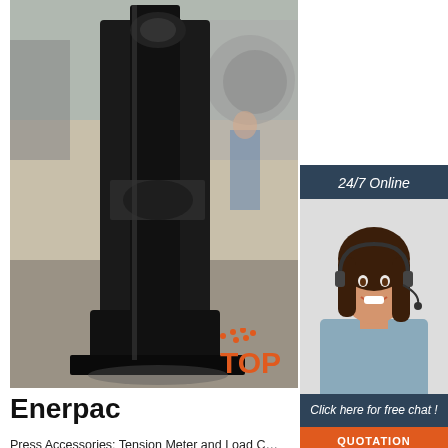[Figure (photo): Industrial machine (Enerpac press) in a warehouse/factory setting, large black heavy equipment on floor with industrial background]
[Figure (photo): 24/7 Online chat agent - woman with headset smiling, wearing blue shirt, sidebar overlay on right side]
Enerpac
Press Accessories; Tension Meter and Load Cells; Cutters. Cutters; Bar Cutters; Chain Cutters; Cutter Spreader Combination Tools; Cutterheads; Decommissioning Cutters; Flat Bar Cutters; Nut Splitters and Cutters; Self-Contained Cutters; Wire and Cable Cutters; Cutter Sets; Cutter Pumps; Cutter Accessories; Pullers. Pullers; Hydraulic and ...